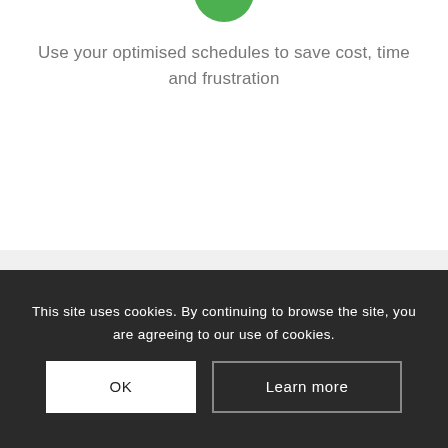[Figure (logo): Partial green circular icon/logo at the top of the page]
Use your optimised schedules to save cost, time and frustration
FEATURES OF JOBTIMIZER RESOURCE MANAGEMENT OPTIMISATION
This site uses cookies. By continuing to browse the site, you are agreeing to our use of cookies.